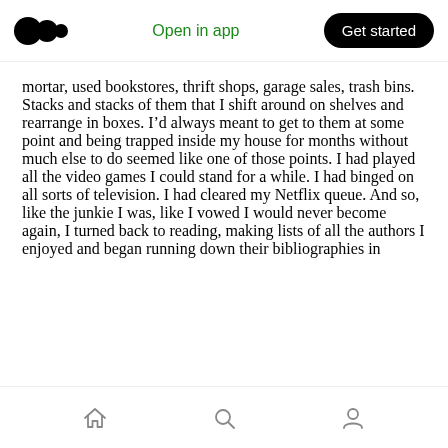Medium logo | Open in app | Get started
mortar, used bookstores, thrift shops, garage sales, trash bins. Stacks and stacks of them that I shift around on shelves and rearrange in boxes. I'd always meant to get to them at some point and being trapped inside my house for months without much else to do seemed like one of those points. I had played all the video games I could stand for a while. I had binged on all sorts of television. I had cleared my Netflix queue. And so, like the junkie I was, like I vowed I would never become again, I turned back to reading, making lists of all the authors I enjoyed and began running down their bibliographies in
Home | Search | Profile